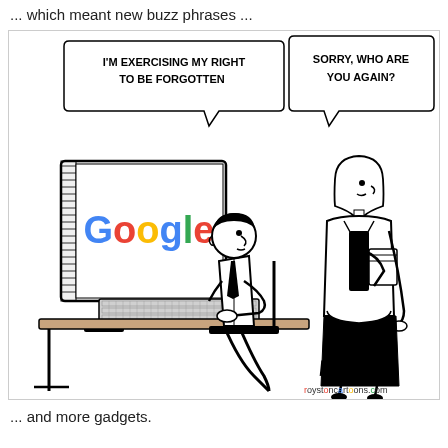... which meant new buzz phrases ...
[Figure (illustration): Cartoon by Royston (roystoncartoons.com). A man sits at a desk typing at a computer showing the Google logo on screen. A speech bubble from him reads 'I'M EXERCISING MY RIGHT TO BE FORGOTTEN'. A woman standing nearby holding a folder has a speech bubble reading 'SORRY, WHO ARE YOU AGAIN?'. Signed 'Royston' with 'roystoncartoons.com' below.]
... and more gadgets.